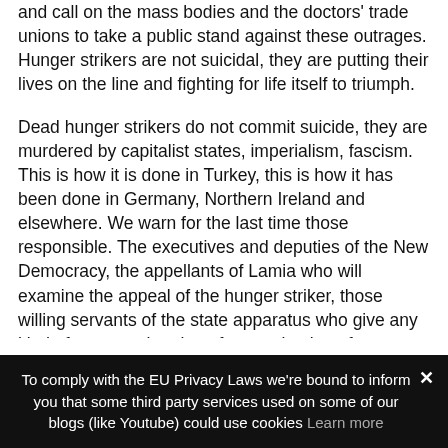and call on the mass bodies and the doctors' trade unions to take a public stand against these outrages. Hunger strikers are not suicidal, they are putting their lives on the line and fighting for life itself to triumph.
Dead hunger strikers do not commit suicide, they are murdered by capitalist states, imperialism, fascism. This is how it is done in Turkey, this is how it has been done in Germany, Northern Ireland and elsewhere. We warn for the last time those responsible. The executives and deputies of the New Democracy, the appellants of Lamia who will examine the appeal of the hunger striker, those willing servants of the state apparatus who give any kind of cover to the plan of extermination of our comrade. Those of you who put your hand on the extermination of our comrade, those who become part of the repressive tactics against
To comply with the EU Privacy Laws we're bound to inform you that some third party services used on some of our blogs (like Youtube) could use cookies Learn more